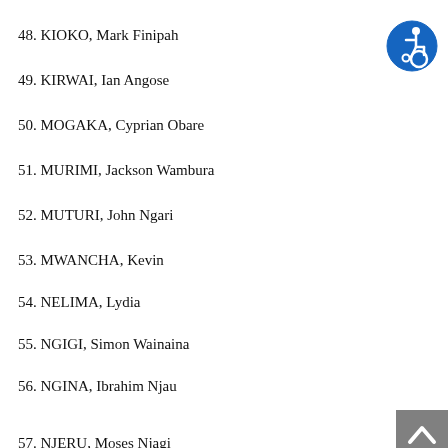48. KIOKO, Mark Finipah
49. KIRWAI, Ian Angose
50. MOGAKA, Cyprian Obare
51. MURIMI, Jackson Wambura
52. MUTURI, John Ngari
53. MWANCHA, Kevin
54. NELIMA, Lydia
55. NGIGI, Simon Wainaina
56. NGINA, Ibrahim Njau
57. NJERU, Moses Njagi
[Figure (illustration): Accessibility icon — blue circle with white wheelchair user symbol]
[Figure (illustration): Back to top button — grey square with white upward chevron arrow]